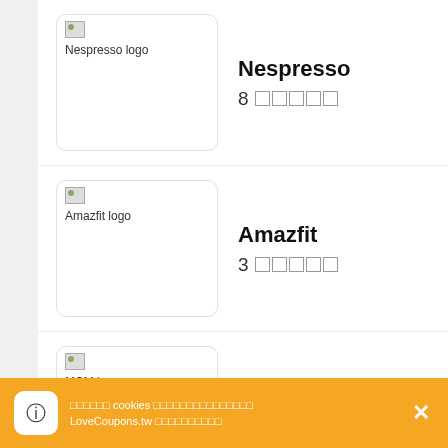Nespresso 8 coupons
Amazfit 3 coupons
MCM 4 coupons
DIFF 21 coupons
cookies LoveCoupons.tw